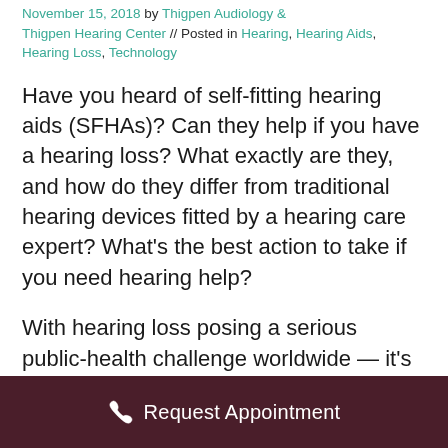Posted on November 15, 2018 by Thigpen Audiology & Thigpen Hearing Center // Posted in Hearing, Hearing Aids, Hearing Loss, Technology
Have you heard of self-fitting hearing aids (SFHAs)? Can they help if you have a hearing loss? What exactly are they, and how do they differ from traditional hearing devices fitted by a hearing care expert? What's the best action to take if you need hearing help?
With hearing loss posing a serious public-health challenge worldwide — it's a chronic problem affecting millions of women, men, and children — technology continues evolving to improve sound clarity, expand
Request Appointment